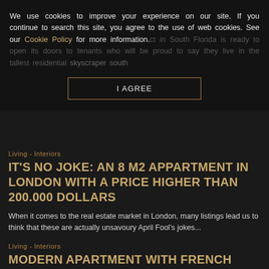We use cookies to improve your experience on our site. If you continue to search this site, you agree to the use of web cookies. See our Cookie Policy for more information.
I AGREE
Living - Interiors
IT'S NO JOKE: AN 8 M2 APPARTMENT IN LONDON WITH A PRICE HIGHER THAN 200.000 DOLLARS
When it comes to the real estate market in London, many listings lead us to think that these are actually unsavoury April Fool's jokes...
Living - Interiors
MODERN APARTMENT WITH FRENCH ALLURE
Created interior d modern
[Figure (photo): Modern apartment interior photo showing a living room with sleek furniture and pendant lights]
[Figure (logo): fusiontables advertisement with X close button]